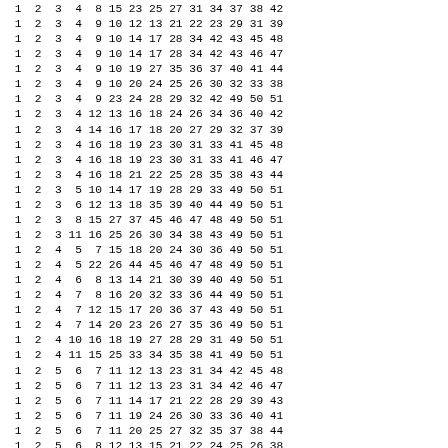| 1 | 2 | 3 | 4 | 8 | 15 | 23 | 25 | 27 | 31 | 34 | 37 | 38 | 42 |
| 1 | 2 | 3 | 4 | 9 | 10 | 12 | 13 | 21 | 22 | 23 | 29 | 31 | 39 |
| 1 | 2 | 3 | 4 | 9 | 10 | 14 | 17 | 28 | 34 | 42 | 43 | 45 | 48 |
| 1 | 2 | 3 | 4 | 9 | 10 | 14 | 17 | 28 | 34 | 42 | 43 | 46 | 47 |
| 1 | 2 | 3 | 4 | 9 | 10 | 19 | 27 | 35 | 36 | 37 | 40 | 41 | 44 |
| 1 | 2 | 3 | 4 | 9 | 10 | 20 | 24 | 25 | 26 | 30 | 32 | 33 | 38 |
| 1 | 2 | 3 | 4 | 9 | 23 | 24 | 28 | 29 | 32 | 42 | 49 | 50 | 51 |
| 1 | 2 | 3 | 4 | 12 | 13 | 16 | 18 | 24 | 26 | 34 | 36 | 40 | 42 |
| 1 | 2 | 3 | 4 | 14 | 16 | 17 | 18 | 20 | 27 | 29 | 32 | 37 | 39 |
| 1 | 2 | 3 | 4 | 16 | 18 | 19 | 23 | 30 | 31 | 33 | 41 | 45 | 48 |
| 1 | 2 | 3 | 4 | 16 | 18 | 19 | 23 | 30 | 31 | 33 | 41 | 46 | 47 |
| 1 | 2 | 3 | 4 | 16 | 18 | 21 | 22 | 25 | 28 | 35 | 38 | 43 | 44 |
| 1 | 2 | 3 | 5 | 10 | 14 | 17 | 19 | 28 | 29 | 33 | 49 | 50 | 51 |
| 1 | 2 | 3 | 6 | 12 | 13 | 18 | 35 | 39 | 40 | 44 | 49 | 50 | 51 |
| 1 | 2 | 3 | 8 | 15 | 27 | 37 | 45 | 46 | 47 | 48 | 49 | 50 | 51 |
| 1 | 2 | 3 | 11 | 16 | 25 | 26 | 30 | 34 | 38 | 43 | 49 | 50 | 51 |
| 1 | 2 | 4 | 5 | 7 | 15 | 18 | 20 | 24 | 30 | 36 | 49 | 50 | 51 |
| 1 | 2 | 4 | 5 | 22 | 26 | 44 | 45 | 46 | 47 | 48 | 49 | 50 | 51 |
| 1 | 2 | 4 | 6 | 8 | 13 | 14 | 21 | 30 | 39 | 40 | 49 | 50 | 51 |
| 1 | 2 | 4 | 7 | 8 | 16 | 20 | 32 | 33 | 36 | 44 | 49 | 50 | 51 |
| 1 | 2 | 4 | 7 | 12 | 15 | 17 | 20 | 36 | 37 | 43 | 49 | 50 | 51 |
| 1 | 2 | 4 | 7 | 14 | 20 | 23 | 26 | 27 | 35 | 36 | 49 | 50 | 51 |
| 1 | 2 | 4 | 10 | 16 | 18 | 19 | 27 | 28 | 29 | 31 | 49 | 50 | 51 |
| 1 | 2 | 4 | 11 | 15 | 25 | 33 | 34 | 35 | 38 | 41 | 49 | 50 | 51 |
| 1 | 2 | 5 | 6 | 7 | 11 | 12 | 13 | 23 | 31 | 34 | 42 | 45 | 48 |
| 1 | 2 | 5 | 6 | 7 | 11 | 12 | 13 | 23 | 31 | 34 | 42 | 46 | 47 |
| 1 | 2 | 5 | 6 | 7 | 11 | 14 | 17 | 21 | 22 | 28 | 29 | 39 | 43 |
| 1 | 2 | 5 | 6 | 7 | 11 | 19 | 24 | 26 | 30 | 33 | 36 | 40 | 41 |
| 1 | 2 | 5 | 6 | 7 | 11 | 20 | 25 | 27 | 32 | 35 | 37 | 38 | 44 |
| 1 | 2 | 5 | 6 | 8 | 12 | 13 | 15 | 21 | 22 | 24 | 25 | 26 | 38 |
| 1 | 2 | 5 | 6 | 8 | 14 | 15 | 17 | 19 | 27 | 37 | 41 | 45 | 48 |